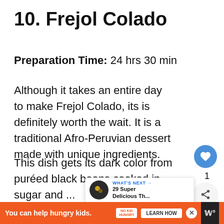10. Frejol Colado
Preparation Time: 24 hrs 30 min
Although it takes an entire day to make Frejol Colado, its is definitely worth the wait. It is a traditional Afro-Peruvian dessert made with unique ingredients.
This dish gets its dark color from puréed black beans cooked in sugar and ...
Add spices like anise, cloves, and sesame fo...